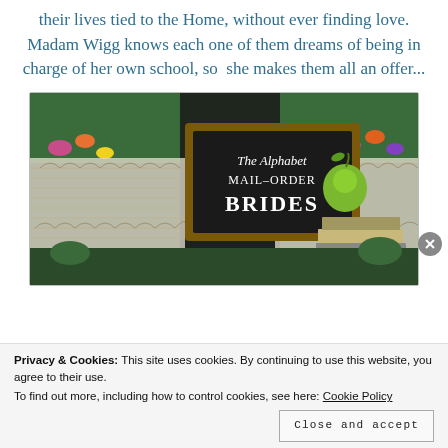their lives tied to the Home, without ever finding love. Madam Wigg knows each one of them dreams of being in charge of her own school, so she makes them all an offer...
[Figure (illustration): Book cover image for 'The Alphabet Mail-Order Brides' showing a chalkboard sign with title text, a green apple, stacked books, lace pattern, and a woman with dark hair standing in a flower garden background.]
Privacy & Cookies: This site uses cookies. By continuing to use this website, you agree to their use.
To find out more, including how to control cookies, see here: Cookie Policy
Close and accept